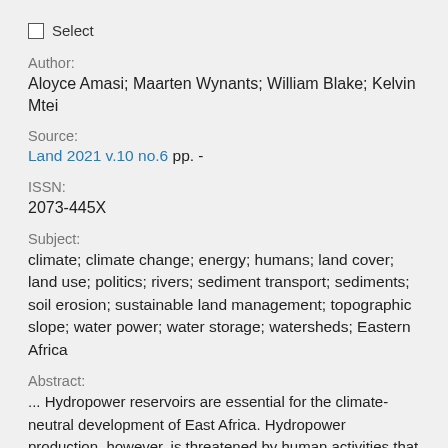Select
Author:
Aloyce Amasi; Maarten Wynants; William Blake; Kelvin Mtei
Source:
Land 2021 v.10 no.6 pp. -
ISSN:
2073-445X
Subject:
climate; climate change; energy; humans; land cover; land use; politics; rivers; sediment transport; sediments; soil erosion; sustainable land management; topographic slope; water power; water storage; watersheds; Eastern Africa
Abstract:
... Hydropower reservoirs are essential for the climate-neutral development of East Africa. Hydropower production, however, is threatened by human activities that lead to a decrease in water storage capacity of reservoirs. Land